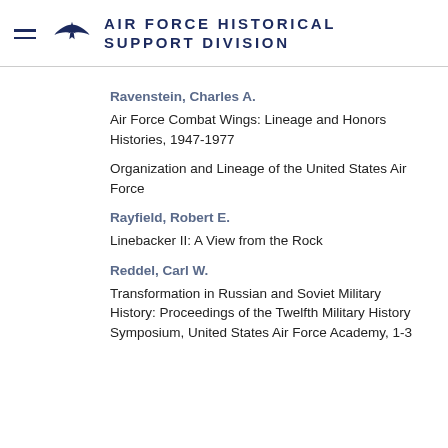AIR FORCE HISTORICAL SUPPORT DIVISION
Ravenstein, Charles A.
Air Force Combat Wings: Lineage and Honors Histories, 1947-1977
Organization and Lineage of the United States Air Force
Rayfield, Robert E.
Linebacker II: A View from the Rock
Reddel, Carl W.
Transformation in Russian and Soviet Military History: Proceedings of the Twelfth Military History Symposium, United States Air Force Academy, 1-3